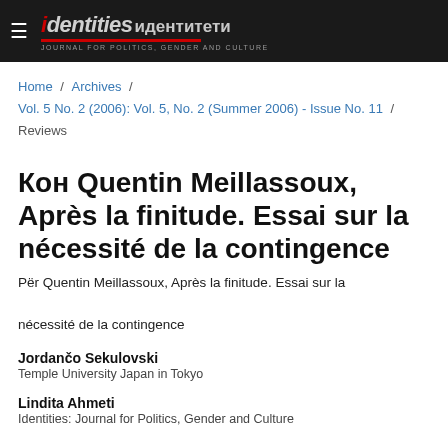identities / Journal for Politics, Gender and Culture
Home / Archives / Vol. 5 No. 2 (2006): Vol. 5, No. 2 (Summer 2006) - Issue No. 11 / Reviews
Кон Quentin Meillassoux, Après la finitude. Essai sur la nécessité de la contingence
Për Quentin Meillassoux, Après la finitude. Essai sur la nécessité de la contingence
Jordančo Sekulovski
Temple University Japan in Tokyo
Lindita Ahmeti
Identities: Journal for Politics, Gender and Culture